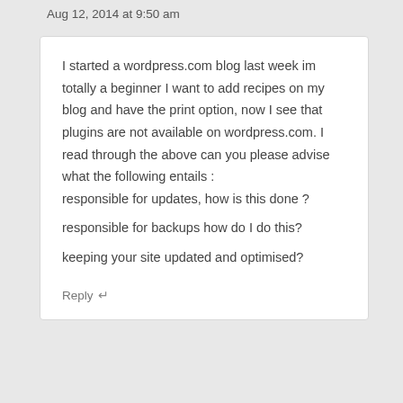Aug 12, 2014 at 9:50 am
I started a wordpress.com blog last week im totally a beginner I want to add recipes on my blog and have the print option, now I see that plugins are not available on wordpress.com. I read through the above can you please advise what the following entails :
responsible for updates, how is this done ?

responsible for backups how do I do this?

keeping your site updated and optimised?
Reply